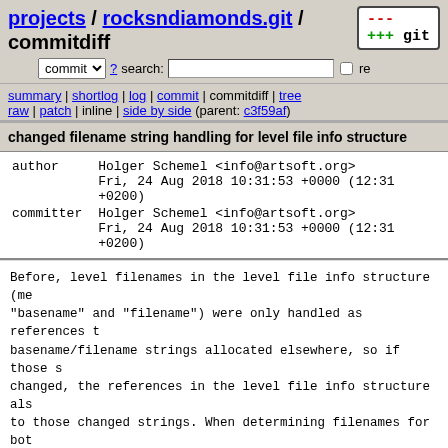projects / rocksndiamonds.git / commitdiff
commit ? search: re
summary | shortlog | log | commit | commitdiff | tree
raw | patch | inline | side by side (parent: c3f59af)
changed filename string handling for level file info structure
author	Holger Schemel <info@artsoft.org>
	Fri, 24 Aug 2018 10:31:53 +0000 (12:31 +0200)
committer	Holger Schemel <info@artsoft.org>
	Fri, 24 Aug 2018 10:31:53 +0000 (12:31 +0200)
Before, level filenames in the level file info structure (members "basename" and "filename") were only handled as references to basename/filename strings allocated elsewhere, so if those strings changed, the references in the level file info structure also point to those changed strings. When determining filenames for both files and corresponding level templates, references to level filenames were replaced by references to template filenames, which resulted in unexpected/wrong behaviour.

Now, these level filenames are handled as copies of the strings. If the strings change, the string copies still stay the same.